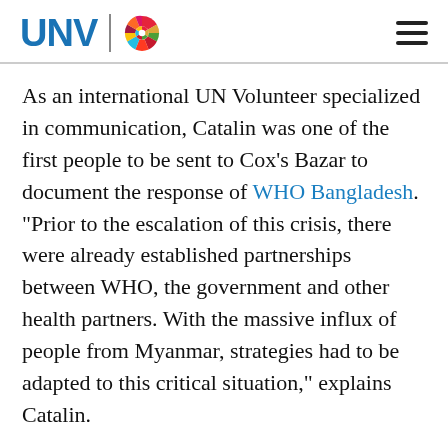UNV [logo]
As an international UN Volunteer specialized in communication, Catalin was one of the first people to be sent to Cox’s Bazar to document the response of WHO Bangladesh. “Prior to the escalation of this crisis, there were already established partnerships between WHO, the government and other health partners. With the massive influx of people from Myanmar, strategies had to be adapted to this critical situation,” explains Catalin.
Among the many challenges that medical staff have to address are: poor nutrition,